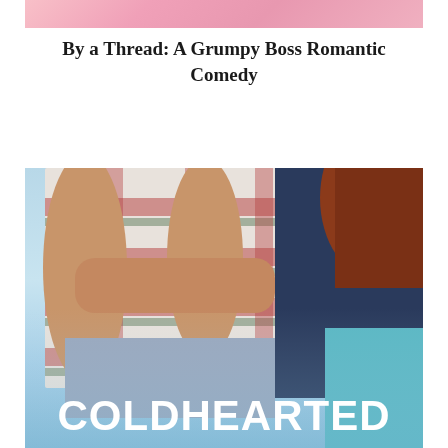[Figure (photo): Top portion of a book cover image, cropped — pink/rose tones visible at top]
By a Thread: A Grumpy Boss Romantic Comedy
[Figure (photo): Book cover showing a man in a plaid shirt and a woman in a dark top standing back to back, with the word COLDHEARTED in large white bold letters at the bottom, against a light blue background]